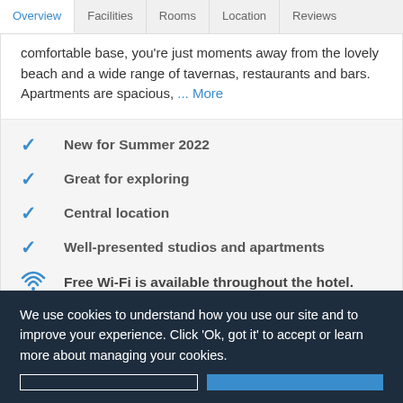Overview | Facilities | Rooms | Location | Reviews
comfortable base, you're just moments away from the lovely beach and a wide range of tavernas, restaurants and bars. Apartments are spacious, ... More
New for Summer 2022
Great for exploring
Central location
Well-presented studios and apartments
Free Wi-Fi is available throughout the hotel.
We use cookies to understand how you use our site and to improve your experience. Click 'Ok, got it' to accept or learn more about managing your cookies.